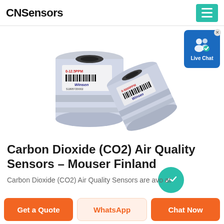CNSensors
[Figure (photo): Two cylindrical CO2 sensor modules (Winsen brand) with metallic silver casing, one upright showing barcode label and one tilted on its side]
Carbon Dioxide (CO2) Air Quality Sensors – Mouser Finland
Carbon Dioxide (CO2) Air Quality Sensors are avo at